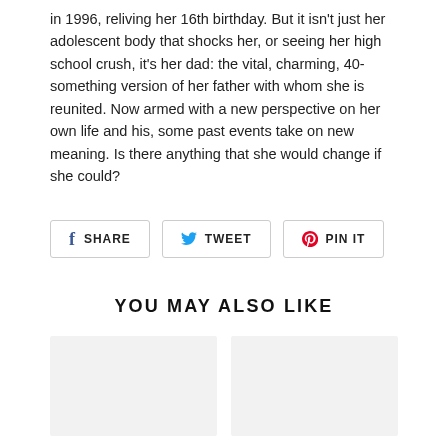in 1996, reliving her 16th birthday. But it isn't just her adolescent body that shocks her, or seeing her high school crush, it's her dad: the vital, charming, 40-something version of her father with whom she is reunited. Now armed with a new perspective on her own life and his, some past events take on new meaning. Is there anything that she would change if she could?
SHARE  TWEET  PIN IT
YOU MAY ALSO LIKE
[Figure (other): Two product image placeholder cards side by side, light gray background]